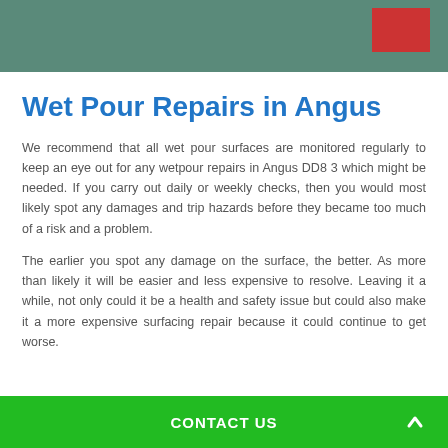[Figure (photo): Aerial or close-up photo of a green wet pour rubber surface with a red and yellow marking in the upper right corner]
Wet Pour Repairs in Angus
We recommend that all wet pour surfaces are monitored regularly to keep an eye out for any wetpour repairs in Angus DD8 3 which might be needed. If you carry out daily or weekly checks, then you would most likely spot any damages and trip hazards before they became too much of a risk and a problem.
The earlier you spot any damage on the surface, the better. As more than likely it will be easier and less expensive to resolve. Leaving it a while, not only could it be a health and safety issue but could also make it a more expensive surfacing repair because it could continue to get worse.
CONTACT US